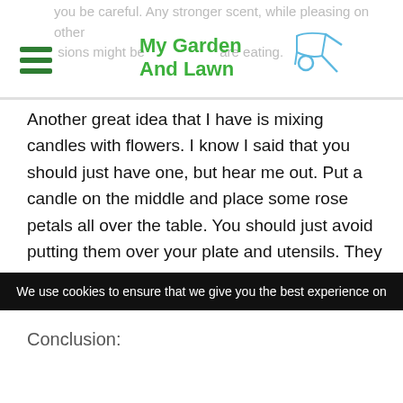you be careful. Any stronger scent, while pleasing on other occasions might be... are eating.
[Figure (logo): My Garden And Lawn logo with green text and a wheelbarrow icon]
Another great idea that I have is mixing candles with flowers. I know I said that you should just have one, but hear me out. Put a candle on the middle and place some rose petals all over the table. You should just avoid putting them over your plate and utensils. They should not be touching each other at all.
Conclusion:
We use cookies to ensure that we give you the best experience on